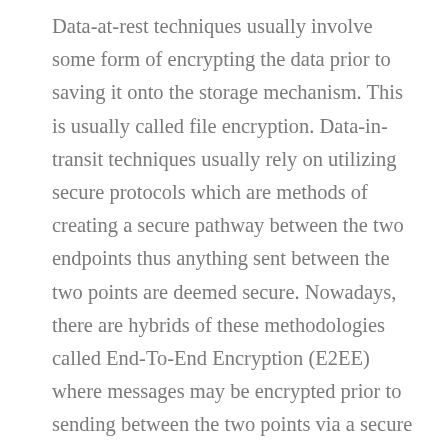Data-at-rest techniques usually involve some form of encrypting the data prior to saving it onto the storage mechanism. This is usually called file encryption. Data-in-transit techniques usually rely on utilizing secure protocols which are methods of creating a secure pathway between the two endpoints thus anything sent between the two points are deemed secure. Nowadays, there are hybrids of these methodologies called End-To-End Encryption (E2EE) where messages may be encrypted prior to sending between the two points via a secure communication session. Today's E2EE solutions offer some semblance of security but are often non-standard, hard to integrate, hard to manage and/or fall short of securing both states of data in a seamless, cohesive fashion.